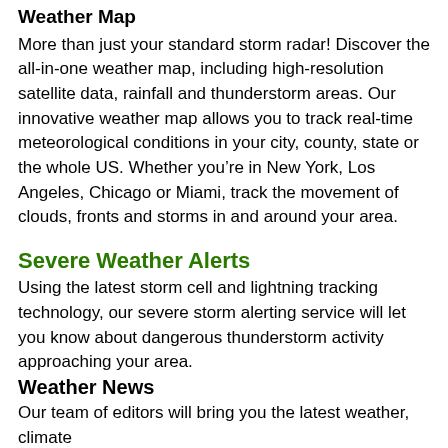Weather Map
More than just your standard storm radar! Discover the all-in-one weather map, including high-resolution satellite data, rainfall and thunderstorm areas. Our innovative weather map allows you to track real-time meteorological conditions in your city, county, state or the whole US. Whether you’re in New York, Los Angeles, Chicago or Miami, track the movement of clouds, fronts and storms in and around your area.
Severe Weather Alerts
Using the latest storm cell and lightning tracking technology, our severe storm alerting service will let you know about dangerous thunderstorm activity approaching your area.
Weather News
Our team of editors will bring you the latest weather, climate